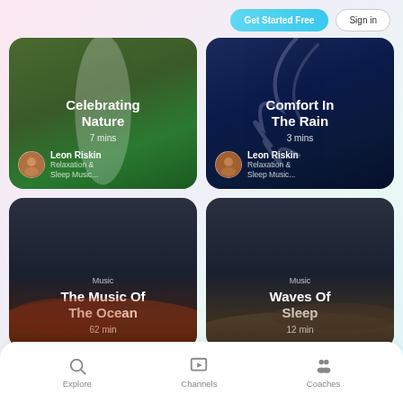[Figure (screenshot): App UI screenshot showing a meditation/relaxation app with top navigation buttons, four content cards in a 2x2 grid (Celebrating Nature, Comfort In The Rain, The Music Of The Ocean, Waves Of Sleep), and a bottom navigation bar with Explore, Channels, Coaches tabs.]
Get Started Free
Sign in
Celebrating Nature
7 mins
Leon Riskin
Relaxation & Sleep Music...
Comfort In The Rain
3 mins
Leon Riskin
Relaxation & Sleep Music...
Music
The Music Of The Ocean
62 min
Music
Waves Of Sleep
12 min
Explore
Channels
Coaches